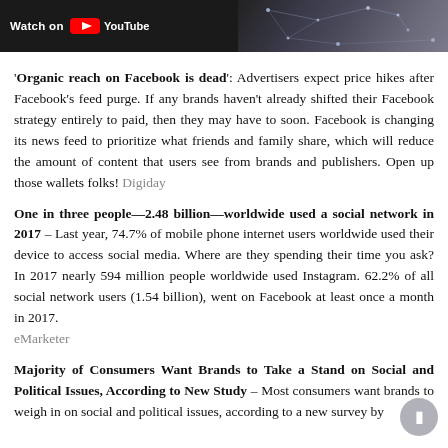[Figure (screenshot): Top banner showing 'Watch on YouTube' button with dark background and network/dots graphic on the right side]
'Organic reach on Facebook is dead': Advertisers expect price hikes after Facebook's feed purge. If any brands haven't already shifted their Facebook strategy entirely to paid, then they may have to soon. Facebook is changing its news feed to prioritize what friends and family share, which will reduce the amount of content that users see from brands and publishers. Open up those wallets folks! Digiday
One in three people—2.48 billion—worldwide used a social network in 2017 – Last year, 74.7% of mobile phone internet users worldwide used their device to access social media. Where are they spending their time you ask? In 2017 nearly 594 million people worldwide used Instagram. 62.2% of all social network users (1.54 billion), went on Facebook at least once a month in 2017. eMarketer
Majority of Consumers Want Brands to Take a Stand on Social and Political Issues, According to New Study – Most consumers want brands to weigh in on social and political issues, according to a new survey by